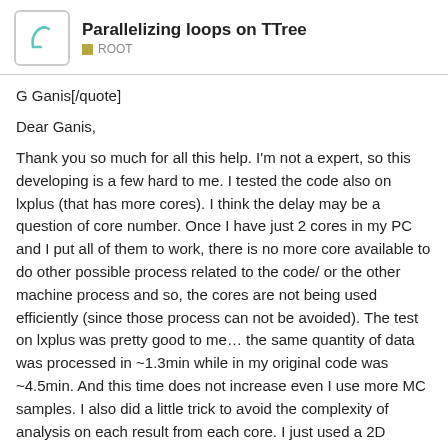Parallelizing loops on TTree — ROOT
G Ganis[/quote]
Dear Ganis,
Thank you so much for all this help. I'm not a expert, so this developing is a few hard to me. I tested the code also on lxplus (that has more cores). I think the delay may be a question of core number. Once I have just 2 cores in my PC and I put all of them to work, there is no more core available to do other possible process related to the code/ or the other machine process and so, the cores are not being used efficiently (since those process can not be avoided). The test on lxplus was pretty good to me… the same quantity of data was processed in ~1.3min while in my original code was ~4.5min. And this time does not increase even I use more MC samples. I also did a little trick to avoid the complexity of analysis on each result from each core. I just used a 2D histogram to store the results and at the end I can easily get back the values (actually is a fast way to my need). Unfortunately, I still was not able to use my function